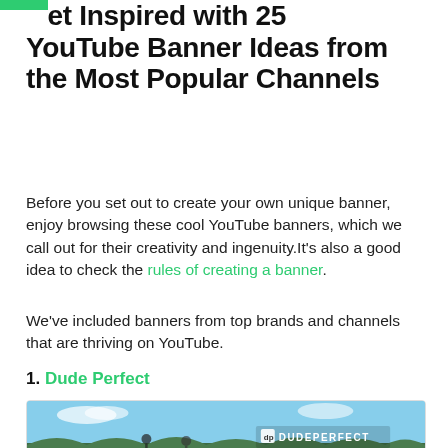Get Inspired with 25 YouTube Banner Ideas from the Most Popular Channels
Before you set out to create your own unique banner, enjoy browsing these cool YouTube banners, which we call out for their creativity and ingenuity.It's also a good idea to check the rules of creating a banner.
We've included banners from top brands and channels that are thriving on YouTube.
1. Dude Perfect
[Figure (screenshot): Screenshot of the Dude Perfect YouTube channel page showing their banner with people doing tricks outdoors, the Dude Perfect logo, and the channel header with subscribe button.]